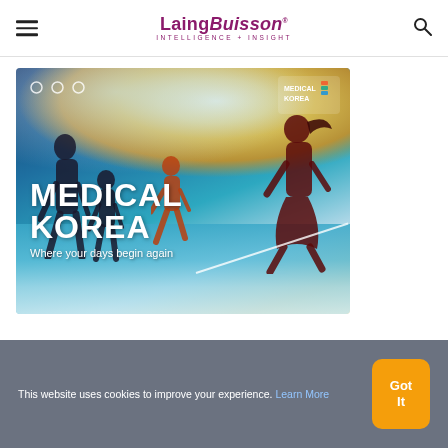LaingBuisson INTELLIGENCE + INSIGHT
[Figure (photo): A family silhouette on a beach at sunset with text overlay 'MEDICAL KOREA Where your days begin again' and a Medical Korea logo in the top right corner]
This website uses cookies to improve your experience. Learn More
Got It